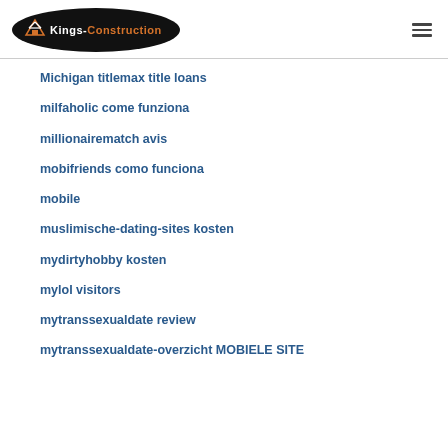Kings-Construction
Michigan titlemax title loans
milfaholic come funziona
millionairematch avis
mobifriends como funciona
mobile
muslimische-dating-sites kosten
mydirtyhobby kosten
mylol visitors
mytranssexualdate review
mytranssexualdate-overzicht MOBIELE SITE